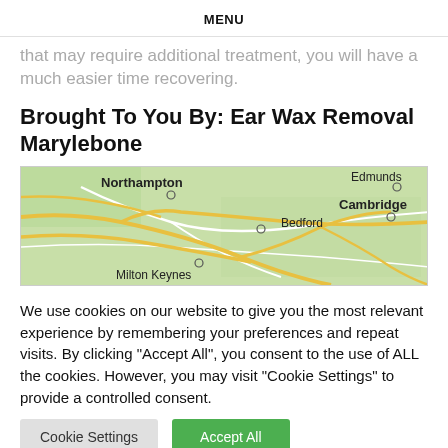MENU
that may require additional treatment, you will have a much easier time recovering.
Brought To You By: Ear Wax Removal Marylebone
[Figure (map): Google Maps view showing Northampton, Bedford, Milton Keynes, Cambridge, and Edmunds (partially visible). Roads shown in yellow/gold on a green background with white regional roads.]
We use cookies on our website to give you the most relevant experience by remembering your preferences and repeat visits. By clicking "Accept All", you consent to the use of ALL the cookies. However, you may visit "Cookie Settings" to provide a controlled consent.
Cookie Settings | Accept All